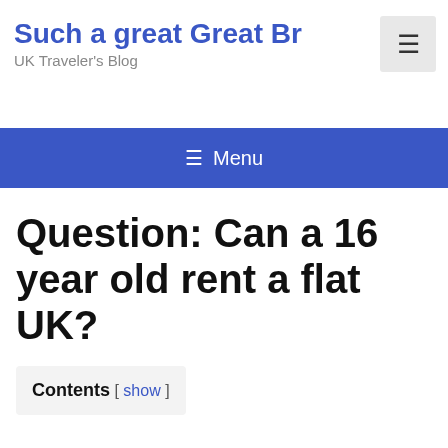Such a great Great Br
UK Traveler's Blog
Question: Can a 16 year old rent a flat UK?
Contents [ show ]